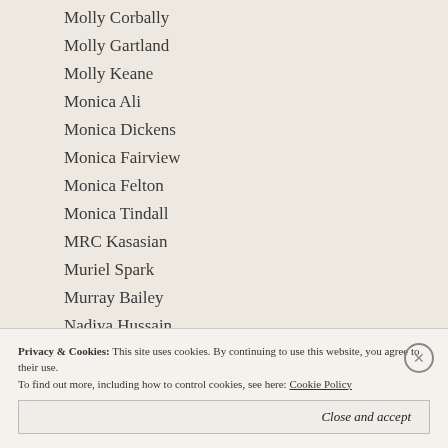Molly Corbally
Molly Gartland
Molly Keane
Monica Ali
Monica Dickens
Monica Fairview
Monica Felton
Monica Tindall
MRC Kasasian
Muriel Spark
Murray Bailey
Nadiya Hussain
Namita Gokhale
Privacy & Cookies: This site uses cookies. By continuing to use this website, you agree to their use. To find out more, including how to control cookies, see here: Cookie Policy
Close and accept